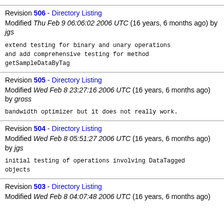Revision 506 - Directory Listing
Modified Thu Feb 9 06:06:02 2006 UTC (16 years, 6 months ago) by jgs

extend testing for binary and unary operations
and add comprehensive testing for method
getSampleDataByTag
Revision 505 - Directory Listing
Modified Wed Feb 8 23:27:16 2006 UTC (16 years, 6 months ago) by gross

bandwidth optimizer but it does not really work.
Revision 504 - Directory Listing
Modified Wed Feb 8 05:51:27 2006 UTC (16 years, 6 months ago) by jgs

initial testing of operations involving DataTagged
objects
Revision 503 - Directory Listing
Modified Wed Feb 8 04:07:48 2006 UTC (16 years, 6 months ago)